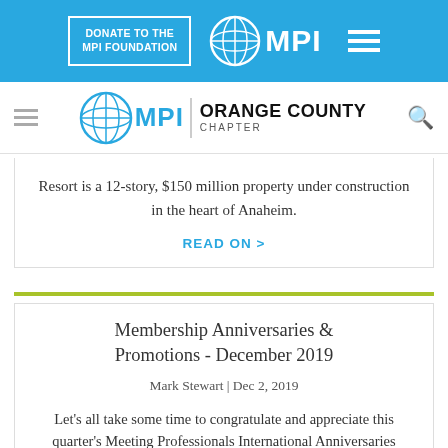DONATE TO THE MPI FOUNDATION | MPI [logo]
[Figure (logo): MPI Orange County Chapter logo with globe icon and text 'ORANGE COUNTY CHAPTER']
Resort is a 12-story, $150 million property under construction in the heart of Anaheim.
READ ON >
Membership Anniversaries & Promotions - December 2019
Mark Stewart | Dec 2, 2019
Let's all take some time to congratulate and appreciate this quarter's Meeting Professionals International Anniversaries